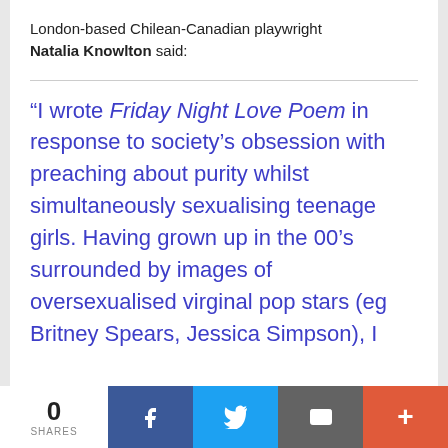London-based Chilean-Canadian playwright Natalia Knowlton said:
“I wrote Friday Night Love Poem in response to society’s obsession with preaching about purity whilst simultaneously sexualising teenage girls. Having grown up in the 00’s surrounded by images of oversexualised virginal pop stars (eg Britney Spears, Jessica Simpson), I
0 SHARES | Facebook | Twitter | Email | +